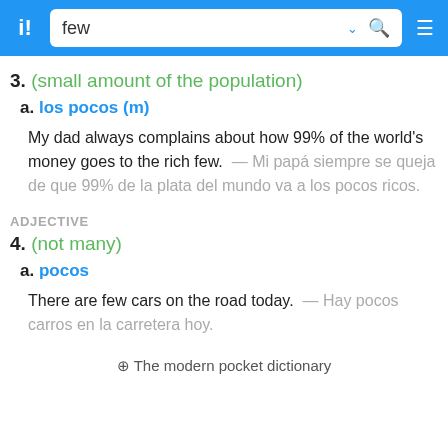few
3. (small amount of the population)
a. los pocos (m)
My dad always complains about how 99% of the world's money goes to the rich few. — Mi papá siempre se queja de que 99% de la plata del mundo va a los pocos ricos.
ADJECTIVE
4. (not many)
a. pocos
There are few cars on the road today. — Hay pocos carros en la carretera hoy.
⊕ The modern pocket dictionary